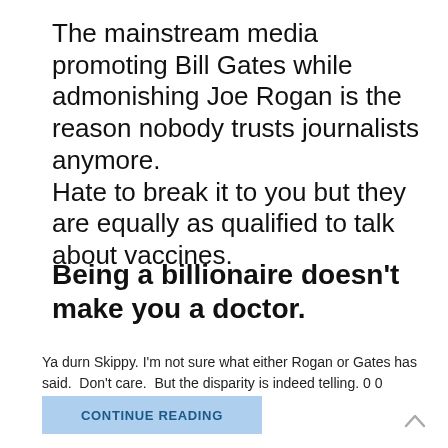The mainstream media promoting Bill Gates while admonishing Joe Rogan is the reason nobody trusts journalists anymore. Hate to break it to you but they are equally as qualified to talk about vaccines.
Being a billionaire doesn't make you a doctor.
Ya durn Skippy. I'm not sure what either Rogan or Gates has said.  Don't care.  But the disparity is indeed telling. 0 0
CONTINUE READING